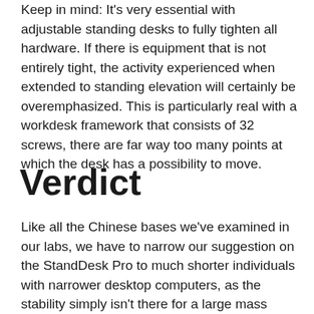Keep in mind: It's very essential with adjustable standing desks to fully tighten all hardware. If there is equipment that is not entirely tight, the activity experienced when extended to standing elevation will certainly be overemphasized. This is particularly real with a workdesk framework that consists of 32 screws, there are far way too many points at which the desk has a possibility to move.
Verdict
Like all the Chinese bases we've examined in our labs, we have to narrow our suggestion on the StandDesk Pro to much shorter individuals with narrower desktop computers, as the stability simply isn't there for a large mass boosted high off the ground.